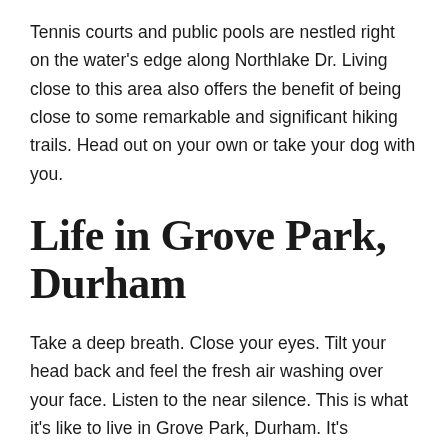Tennis courts and public pools are nestled right on the water's edge along Northlake Dr. Living close to this area also offers the benefit of being close to some remarkable and significant hiking trails. Head out on your own or take your dog with you.
Life in Grove Park, Durham
Take a deep breath. Close your eyes. Tilt your head back and feel the fresh air washing over your face. Listen to the near silence. This is what it's like to live in Grove Park, Durham. It's peaceful and friendly, situated away from the major hustle and bustle of city life.